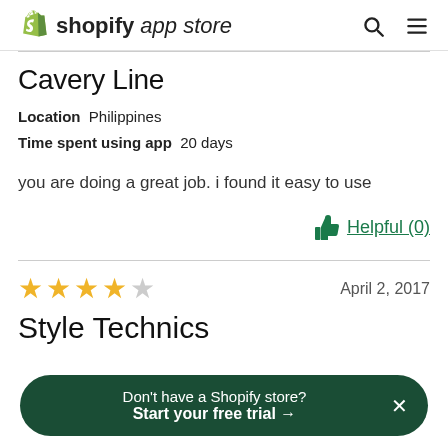shopify app store
Cavery Line
Location  Philippines
Time spent using app  20 days
you are doing a great job. i found it easy to use
Helpful (0)
April 2, 2017
Style Technics
Don't have a Shopify store? Start your free trial →